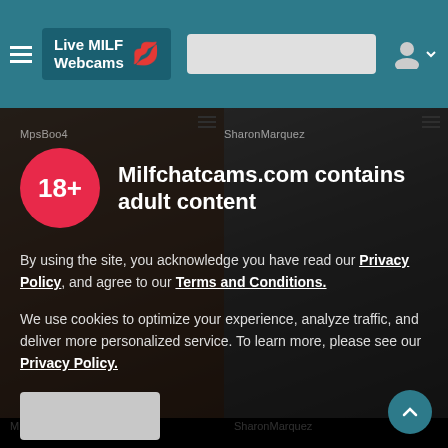Live MILF Webcams
[Figure (screenshot): Two webcam model thumbnail photos side by side. Left photo: woman in lingerie. Right photo: woman in black dress on bed. Below left: 'MpsBoo4' label. Below right: 'SharonMarquez' label.]
Milfchatcams.com contains adult content
By using the site, you acknowledge you have read our Privacy Policy, and agree to our Terms and Conditions.
We use cookies to optimize your experience, analyze traffic, and deliver more personalized service. To learn more, please see our Privacy Policy.